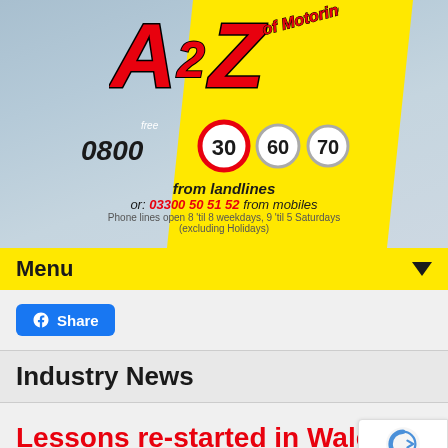[Figure (logo): A2Z of Motoring logo with red stylized letters on yellow diagonal background, with phone number 0800 30 60 70 shown as speed signs, 'from landlines', 'or: 03300 50 51 52 from mobiles', and phone hours text]
Menu
[Figure (other): Facebook Share button]
Industry News
Lessons re-started in Wales
Posted on April 26, 2021 by Kevin Williams